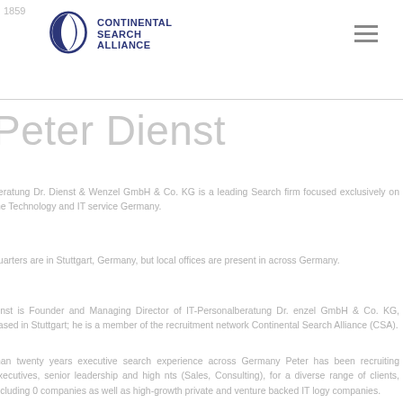Continental Search Alliance logo and navigation
Peter Dienst
beratung Dr. Dienst & Wenzel GmbH & Co. KG is a leading Search firm focused exclusively on the Technology and IT service Germany.
quarters are in Stuttgart, Germany, but local offices are present in across Germany.
ienst is Founder and Managing Director of IT-Personalberatung Dr. enzel GmbH & Co. KG, based in Stuttgart; he is a member of the recruitment network Continental Search Alliance (CSA).
than twenty years executive search experience across Germany Peter has been recruiting executives, senior leadership and high nts (Sales, Consulting), for a diverse range of clients, including 0 companies as well as high-growth private and venture backed IT logy companies.